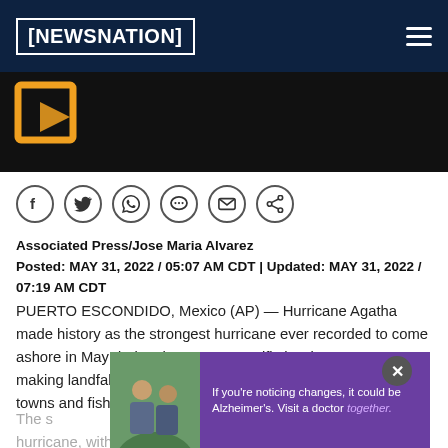NEWSNATION
[Figure (screenshot): NewsNation logo video thumbnail area with orange bracket icon on black background]
[Figure (other): Social share icons: Facebook, Twitter, WhatsApp, Chat, Email, Share]
Associated Press/Jose Maria Alvarez
Posted: MAY 31, 2022 / 05:07 AM CDT | Updated: MAY 31, 2022 / 07:19 AM CDT
PUERTO ESCONDIDO, Mexico (AP) — Hurricane Agatha made history as the strongest hurricane ever recorded to come ashore in May during the eastern Pacific hurricane center, making landfall on a sparsely populated stretch of small beach towns and fishing villages in southern Mexico.
The s... afternoon as a strong Category 2 hurricane, with maximum sustained winds of 105 mph that eased
[Figure (photo): Advertisement overlay: two men smiling outdoors with purple background and text 'If you're noticing changes, it could be Alzheimer's. Visit a doctor together.']